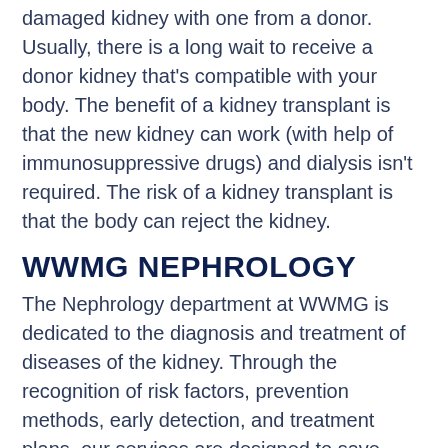damaged kidney with one from a donor. Usually, there is a long wait to receive a donor kidney that's compatible with your body. The benefit of a kidney transplant is that the new kidney can work (with help of immunosuppressive drugs) and dialysis isn't required. The risk of a kidney transplant is that the body can reject the kidney.
WWMG NEPHROLOGY
The Nephrology department at WWMG is dedicated to the diagnosis and treatment of diseases of the kidney. Through the recognition of risk factors, prevention methods, early detection, and treatment plans, our services are designed to save kidney function and abolish a patient's future need for serious treatments such as dialysis. To learn more about the WWMG Nephrology department, visit our website and contact